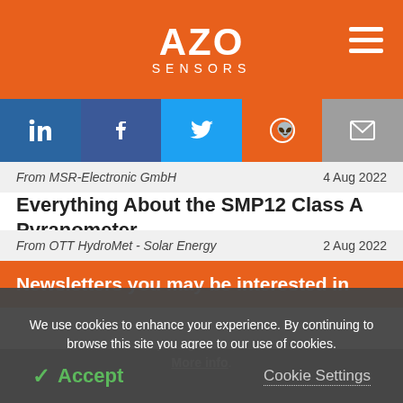AZO SENSORS
[Figure (screenshot): Social media share buttons: LinkedIn, Facebook, Twitter, Reddit, Email]
From MSR-Electronic GmbH    4 Aug 2022
Everything About the SMP12 Class A Pyranometer
From OTT HydroMet - Solar Energy    2 Aug 2022
Newsletters you may be interested in
We use cookies to enhance your experience. By continuing to browse this site you agree to our use of cookies. More info.
✓ Accept    Cookie Settings